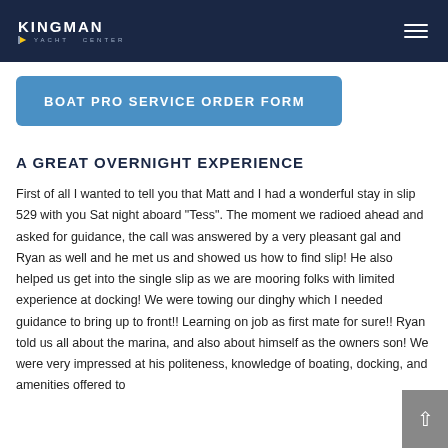KINGMAN YACHT CENTER
BOAT PRO SERVICE ORDER FORM
A GREAT OVERNIGHT EXPERIENCE
First of all I wanted to tell you that Matt and I had a wonderful stay in slip 529 with you Sat night aboard "Tess". The moment we radioed ahead and asked for guidance, the call was answered by a very pleasant gal and Ryan as well and he met us and showed us how to find slip! He also helped us get into the single slip as we are mooring folks with limited experience at docking! We were towing our dinghy which I needed guidance to bring up to front!! Learning on job as first mate for sure!! Ryan told us all about the marina, and also about himself as the owners son! We were very impressed at his politeness, knowledge of boating, docking, and amenities offered to